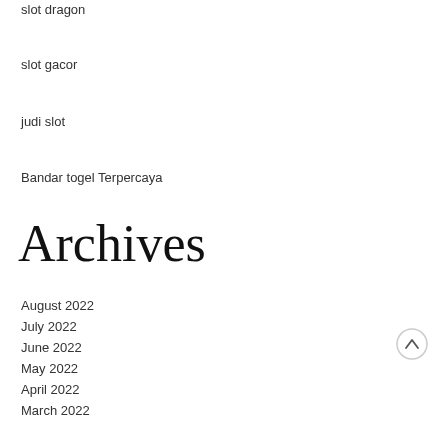slot dragon
slot gacor
judi slot
Bandar togel Terpercaya
Archives
August 2022
July 2022
June 2022
May 2022
April 2022
March 2022